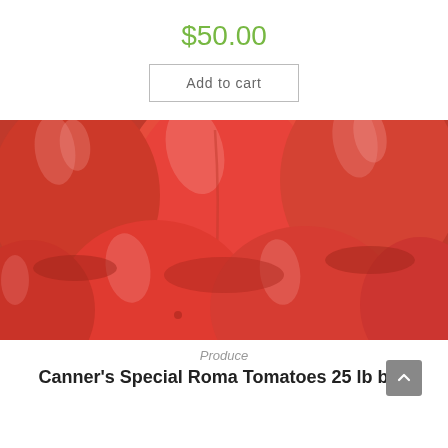$50.00
Add to cart
[Figure (photo): Close-up photo of multiple red Roma tomatoes packed together, filling the frame.]
Produce
Canner's Special Roma Tomatoes 25 lb box